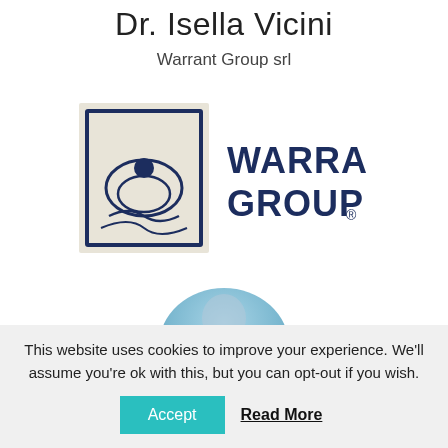Dr. Isella Vicini
Warrant Group srl
[Figure (logo): Warrant Group logo: square icon with eye/wave motif and bold dark blue text reading WARRANT GROUP with registered trademark symbol]
[Figure (photo): Partially visible circular profile photo at bottom of page, showing a person with blurred background]
This website uses cookies to improve your experience. We'll assume you're ok with this, but you can opt-out if you wish.
Accept   Read More